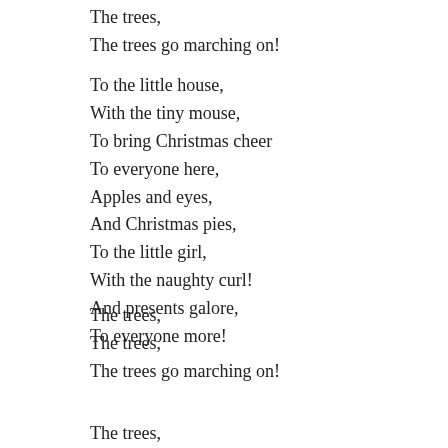The trees,
The trees go marching on!
To the little house,
With the tiny mouse,
To bring Christmas cheer
To everyone here,
Apples and eyes,
And Christmas pies,
To the little girl,
With the naughty curl!
And presents galore,
To everyone more!
The trees,
The trees,
The trees go marching on!
The trees,